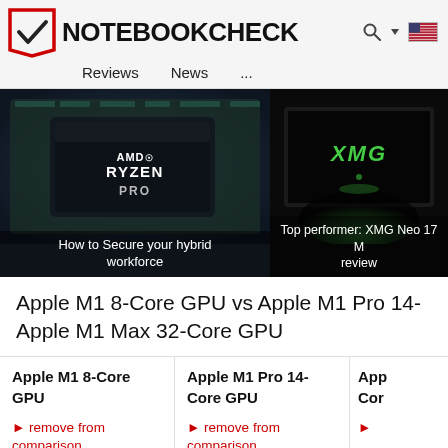NOTEBOOKCHECK  Reviews  News  ...
[Figure (photo): AMD Ryzen Pro chip close-up with caption: How to Secure your hybrid workforce]
[Figure (photo): XMG laptop with glowing XMG logo on screen, with caption: Top performer: XMG Neo 17 M review]
Apple M1 8-Core GPU vs Apple M1 Pro 14- Apple M1 Max 32-Core GPU
| Apple M1 8-Core GPU | Apple M1 Pro 14-Core GPU | App... Cor... |
| --- | --- | --- |
| remove from comparison | remove from comparison | ... |